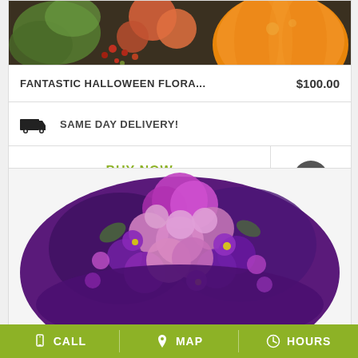[Figure (photo): Top portion of Halloween floral arrangement with orange pumpkin and red/orange flowers on dark background]
FANTASTIC HALLOWEEN FLORA...  $100.00
SAME DAY DELIVERY!
BUY NOW
[Figure (photo): Purple and pink flower bouquet arrangement — carnations, roses, and daisies in shades of lavender, magenta, and purple]
CALL  MAP  HOURS